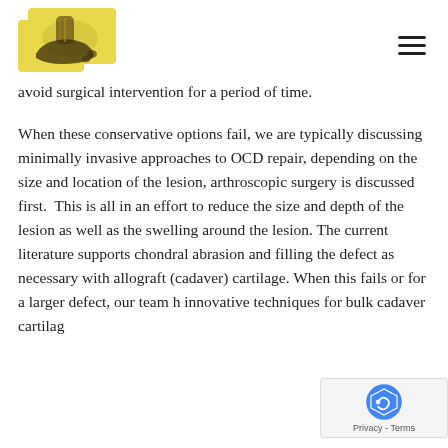[Logo: foot/ankle X-ray illustration with yellow background] [Hamburger menu icon]
avoid surgical intervention for a period of time.
When these conservative options fail, we are typically discussing minimally invasive approaches to OCD repair, depending on the size and location of the lesion, arthroscopic surgery is discussed first.  This is all in an effort to reduce the size and depth of the lesion as well as the swelling around the lesion. The current literature supports chondral abrasion and filling the defect as necessary with allograft (cadaver) cartilage. When this fails or for a larger defect, our team h innovative techniques for bulk cadaver cartilag